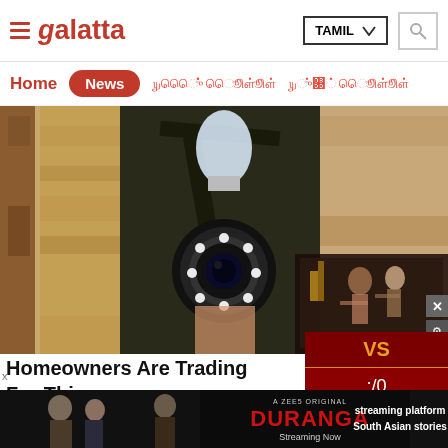≡ Galatta | TAMIL ▼ | 🔍
Home | News | (Tamil nav items)
[Figure (photo): Security camera being installed on a textured wall, close-up photo. Semi-transparent video overlay showing dancers in the bottom right.]
Homeowners Are Trading For This
[Figure (infographic): VS scoreboard overlay in dark red showing 'VS' in gold text and score ':/0' in white]
[Figure (photo): Bottom banner advertisement for 'DURANGA - A ZEE5 ORIGINAL - Streaming Now' with actors and text about streaming platform for South Asian stories]